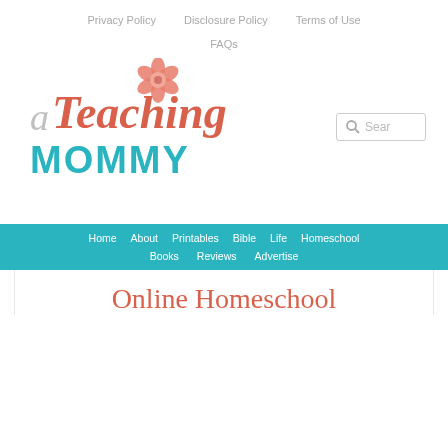Privacy Policy  Disclosure Policy  Terms of Use  FAQs
[Figure (logo): A Teaching Mommy logo with flower graphic, teal and coral/red color scheme]
[Figure (other): Search box with magnifying glass icon]
Home  About  Printables  Bible  Life  Homeschool  Books  Reviews  Advertise
Online Homeschool